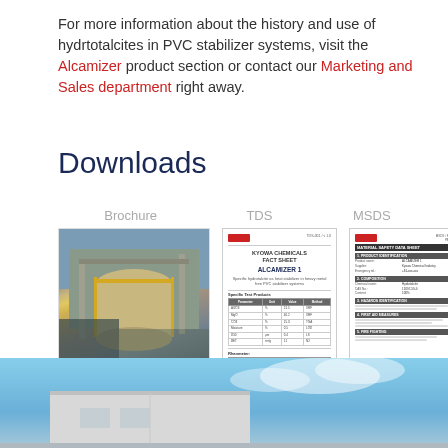For more information about the history and use of hydrtotalcites in PVC stabilizer systems, visit the Alcamizer product section or contact our Marketing and Sales department right away.
Downloads
Brochure
TDS
MSDS
[Figure (photo): Thumbnail of a product brochure showing an industrial facility with tanks and pipes, with the Alcamizer product branding at bottom]
[Figure (photo): Thumbnail of a Technical Data Sheet (TDS) document for ALCAMIZER product from Kyowa Chemicals with tables and product specifications]
[Figure (photo): Thumbnail of a Material Safety Data Sheet (MSDS) document with sections on product identification, composition, and safety information]
[Figure (photo): Bottom of page photo showing an industrial building exterior with blue sky background]